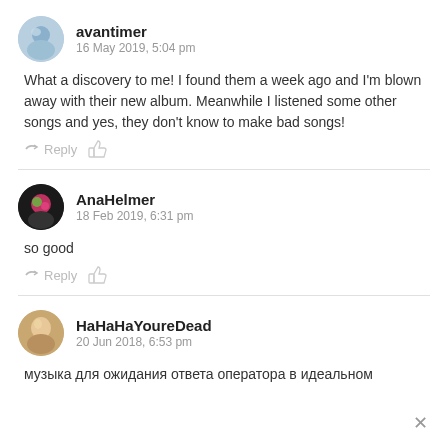avantimer
16 May 2019, 5:04pm
What a discovery to me! I found them a week ago and I'm blown away with their new album. Meanwhile I listened some other songs and yes, they don't know to make bad songs!
AnaHelmer
18 Feb 2019, 6:31pm
so good
HaHaHaYoureDead
20 Jun 2018, 6:53pm
музыка для ожидания ответа оператора в идеальном